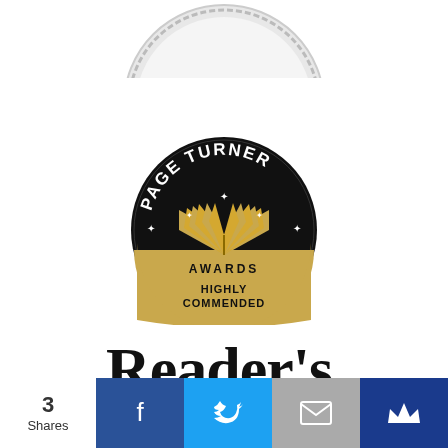[Figure (logo): Partial silver/grey circular badge cropped at top of page]
[Figure (logo): Page Turner Awards Highly Commended badge — black circle with gold open book and stars, gold lower segment reading AWARDS / HIGHLY COMMENDED]
[Figure (logo): Reader's digest logo in large serif black text]
3
Shares
[Figure (infographic): Social share bar with Facebook (blue), Twitter (light blue), email (grey), and Bloglovin (dark blue) buttons]